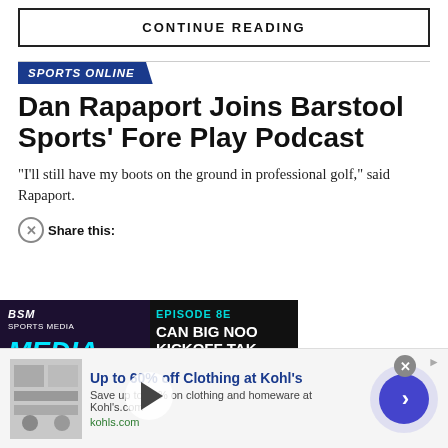CONTINUE READING
SPORTS ONLINE
Dan Rapaport Joins Barstool Sports' Fore Play Podcast
"I'll still have my boots on the ground in professional golf," said Rapaport.
Share this:
[Figure (screenshot): BSM Media Noise podcast video thumbnail showing episode about Big Noon Kickoff vs College Gameday]
August 29, 2022
[Figure (infographic): Advertisement banner for Kohl's: Up to 60% off Clothing at Kohl's. Save up to 60% on clothing and homeware at Kohl's.com. kohls.com]